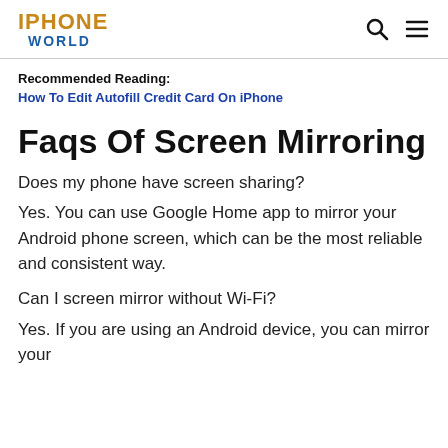IPHONE WORLD
Recommended Reading:
How To Edit Autofill Credit Card On iPhone
Faqs Of Screen Mirroring
Does my phone have screen sharing?
Yes. You can use Google Home app to mirror your Android phone screen, which can be the most reliable and consistent way.
Can I screen mirror without Wi-Fi?
Yes. If you are using an Android device, you can mirror your